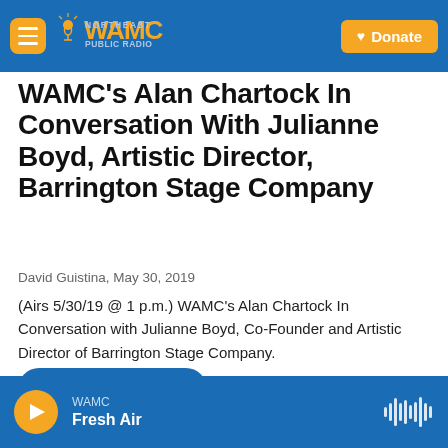WAMC Northeast Public Radio — Donate
WAMC's Alan Chartock In Conversation With Julianne Boyd, Artistic Director, Barrington Stage Company
David Guistina, May 30, 2019
(Airs 5/30/19 @ 1 p.m.) WAMC's Alan Chartock In Conversation with Julianne Boyd, Co-Founder and Artistic Director of Barrington Stage Company.
LISTEN • 53:00
WAMC — Fresh Air